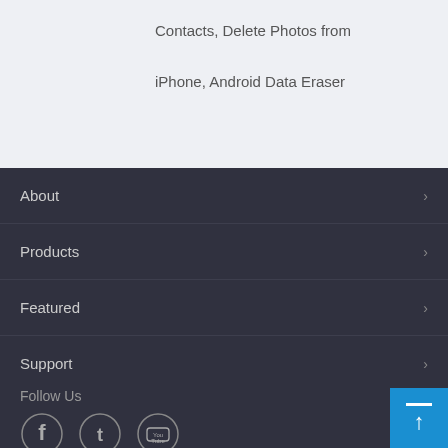Contacts, Delete Photos from
iPhone, Android Data Eraser
About
Products
Featured
Support
Follow Us
[Figure (illustration): Social media icons: Facebook, Twitter, YouTube circles]
[Figure (illustration): Back to top button with arrow, blue background]